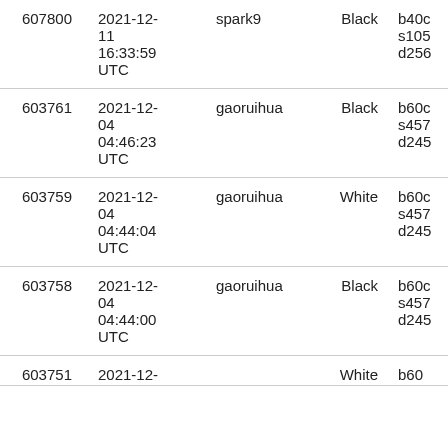| id | date | user | color | ref |
| --- | --- | --- | --- | --- |
| 607800 | 2021-12-11 16:33:59 UTC | spark9 | Black | b40...
s105...
d256... |
| 603761 | 2021-12-04 04:46:23 UTC | gaoruihua | Black | b60c...
s457...
d245... |
| 603759 | 2021-12-04 04:44:04 UTC | gaoruihua | White | b60c...
s457...
d245... |
| 603758 | 2021-12-04 04:44:00 UTC | gaoruihua | Black | b60c...
s457...
d245... |
| 603751 | 2021-12-... | ... | White | b60... |